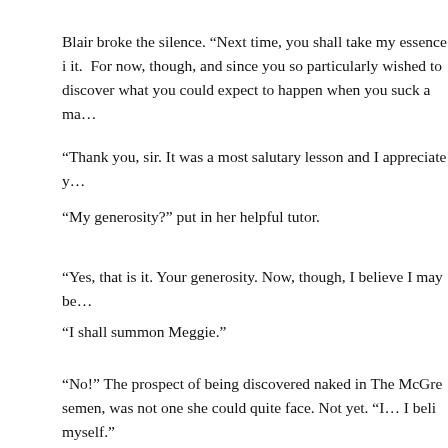Blair broke the silence. “Next time, you shall take my essence i it. For now, though, and since you so particularly wished to discover what you could expect to happen when you suck a ma…
“Thank you, sir. It was a most salutary lesson and I appreciate y…
“My generosity?” put in her helpful tutor.
“Yes, that is it. Your generosity. Now, though, I believe I may be…
“I shall summon Meggie.”
“No!” The prospect of being discovered naked in The McGre semen, was not one she could quite face. Not yet. “I… I beli myself.”
He laughed. “And I believe you to be shy. Allow me, then.” In water, regrettably cool, and a cloth. He proceeded to wipe th…